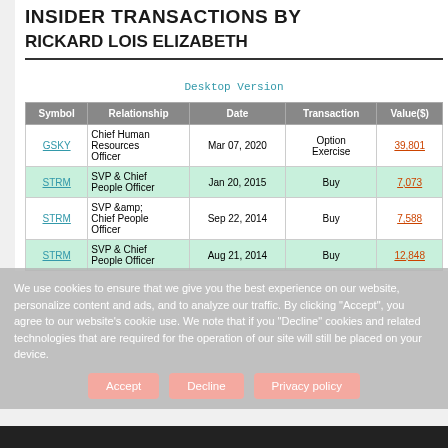INSIDER TRANSACTIONS BY
RICKARD LOIS ELIZABETH
Desktop Version
| Symbol | Relationship | Date | Transaction | Value($) |
| --- | --- | --- | --- | --- |
| GSKY | Chief Human Resources Officer | Mar 07, 2020 | Option Exercise | 39,801 |
| STRM | SVP & Chief People Officer | Jan 20, 2015 | Buy | 7,073 |
| STRM | SVP &amp; Chief People Officer | Sep 22, 2014 | Buy | 7,588 |
| STRM | SVP & Chief People Officer | Aug 21, 2014 | Buy | 12,848 |
We use cookies to ensure that we give you the best experience on our website, personalize content and ads, and to analyze our traffic. By clicking "Accept", you agree to our website's cookie use. We note that if you "Decline" cookies and related technologies that are required for the operation of our site will still be placed on your device.